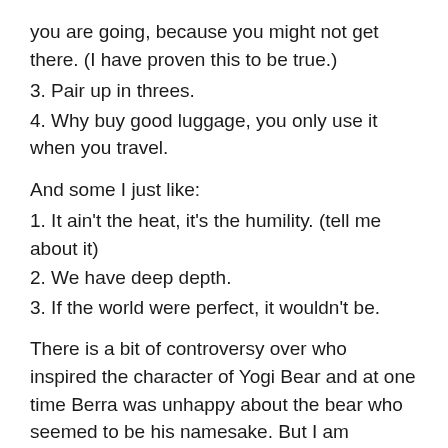you are going, because you might not get there. (I have proven this to be true.)
3. Pair up in threes.
4. Why buy good luggage, you only use it when you travel.
And some I just like:
1. It ain't the heat, it's the humility. (tell me about it)
2. We have deep depth.
3. If the world were perfect, it wouldn't be.
There is a bit of controversy over who inspired the character of Yogi Bear and at one time Berra was unhappy about the bear who seemed to be his namesake. But I am convinced (despite a dropped lawsuit) that the bear who loved to steal picnic baskets was based on the man who hit a mean ball. My proof? This quote from Yogi Bear, talking to his sidekick BooBoo has me convinced; Yogi